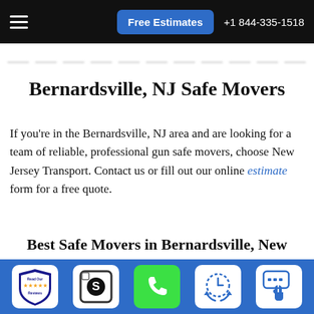Free Estimates  +1 844-335-1518
Bernardsville, NJ Safe Movers
If you’re in the Bernardsville, NJ area and are looking for a team of reliable, professional gun safe movers, choose New Jersey Transport. Contact us or fill out our online estimate form for a free quote.
Best Safe Movers in Bernardsville, New Jersey
Trust New Jersey Transport -The gun safe movers who will deliver safely and securely. As a local moving company
[Figure (infographic): Bottom toolbar with five icons: Read Our Reviews badge, dollar sign S icon, green phone call icon, clock/time icon, and chat/message icon with hand cursor]